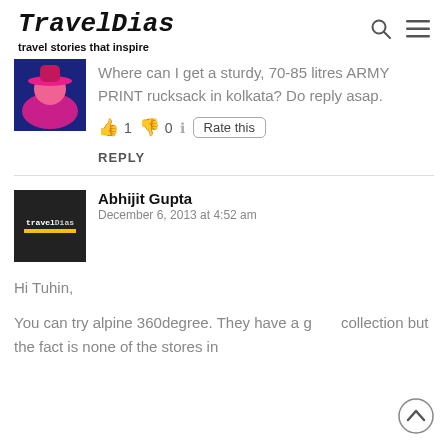TravelDias — travel stories that inspire
Where can I get a sturdy, 70-85 litres ARMY PRINT rucksack in kolkata? Do reply asap.
👍 1 👎 0 ℹ Rate this
REPLY
Abhijit Gupta
December 6, 2013 at 4:52 am
Hi Tuhin,

You can try alpine 360degree. They have a g collection but the fact is none of the stores in